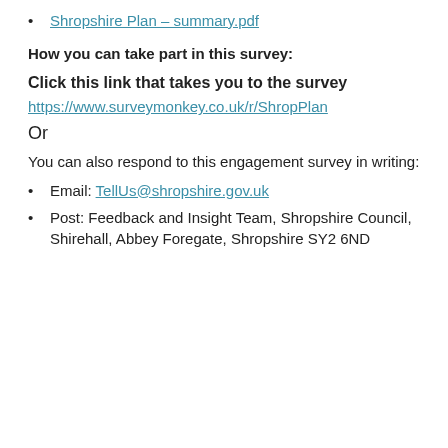Shropshire Plan – summary.pdf
How you can take part in this survey:
Click this link that takes you to the survey
https://www.surveymonkey.co.uk/r/ShropPlan
Or
You can also respond to this engagement survey in writing:
Email: TellUs@shropshire.gov.uk
Post: Feedback and Insight Team, Shropshire Council, Shirehall, Abbey Foregate, Shropshire SY2 6ND